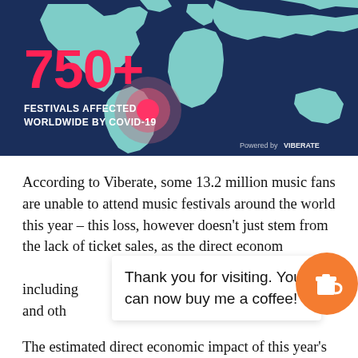[Figure (map): World map with dark blue background and light teal continents, showing a pink/red concentric circle hotspot over South America (Brazil region). Large text '750+' in pink/red on the left side. Below that: 'FESTIVALS AFFECTED WORLDWIDE BY COVID-19' in white uppercase. Bottom right: 'Powered by VIBERATE' in small white text.]
According to Viberate, some 13.2 million music fans are unable to attend music festivals around the world this year – this loss, however doesn't just stem from the lack of ticket sales, as the direct economic impact includes various other losses, including accommodation, food, festival merchandise and other spending.
Thank you for visiting. You can now buy me a coffee!
The estimated direct economic impact of this year's